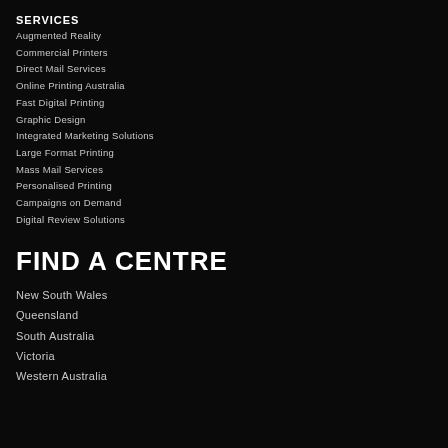SERVICES
Augmented Reality
Commercial Printers
Direct Mail Services
Online Printing Australia
Fast Digital Printing
Graphic Design
Integrated Marketing Solutions
Large Format Printing
Mass Mail Services
Personalised Printing
Campaigns on Demand
Digital Review Solutions
FIND A CENTRE
New South Wales
Queensland
South Australia
Victoria
Western Australia